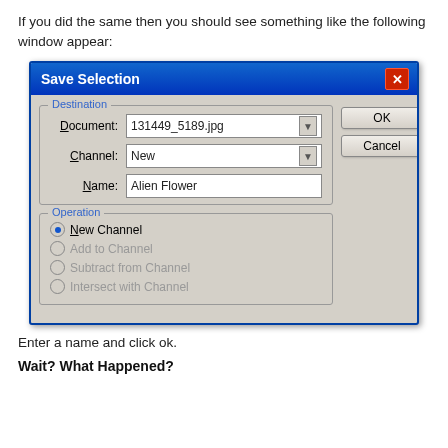If you did the same then you should see something like the following window appear:
[Figure (screenshot): A Windows XP-style 'Save Selection' dialog box with a blue title bar, close button, Destination group with Document (131449_5189.jpg), Channel (New), and Name (Alien Flower) fields, and an Operation group with New Channel, Add to Channel, Subtract from Channel, and Intersect with Channel radio buttons. OK and Cancel buttons on the right.]
Enter a name and click ok.
Wait? What Happened?